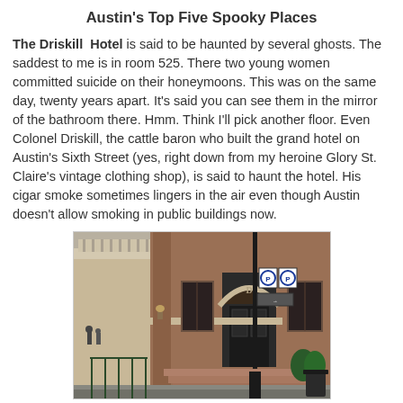Austin's Top Five Spooky Places
The Driskill Hotel is said to be haunted by several ghosts. The saddest to me is in room 525. There two young women committed suicide on their honeymoons. This was on the same day, twenty years apart. It's said you can see them in the mirror of the bathroom there. Hmm. Think I'll pick another floor. Even Colonel Driskill, the cattle baron who built the grand hotel on Austin's Sixth Street (yes, right down from my heroine Glory St. Claire's vintage clothing shop), is said to haunt the hotel. His cigar smoke sometimes lingers in the air even though Austin doesn't allow smoking in public buildings now.
[Figure (photo): Exterior photograph of the Driskill Hotel entrance on Austin's Sixth Street, showing the brick facade, arched doorway with ornate stonework, a tall black lamp post, parking signs, and steps leading to the entrance.]